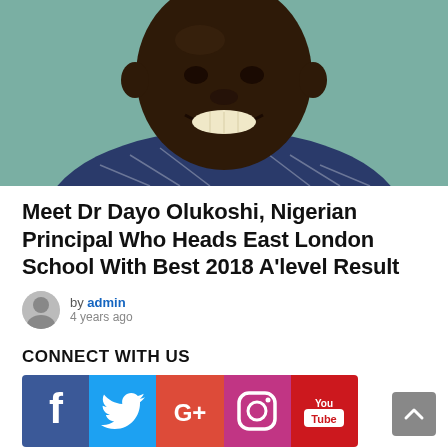[Figure (photo): Portrait photo of Dr Dayo Olukoshi, a Nigerian man smiling broadly, wearing a plaid/checkered shirt, against a light teal background.]
Meet Dr Dayo Olukoshi, Nigerian Principal Who Heads East London School With Best 2018 A'level Result
by admin
4 years ago
CONNECT WITH US
[Figure (infographic): Social media icon bar showing Facebook, Twitter, Google+, Instagram, and YouTube buttons.]